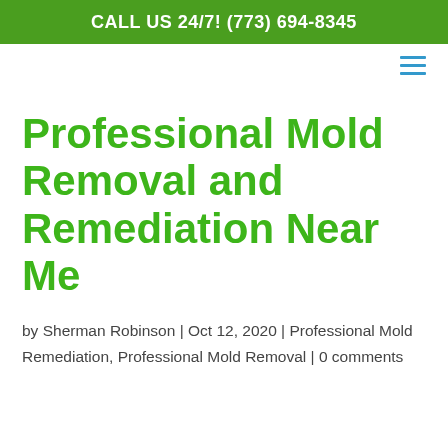CALL US 24/7! (773) 694-8345
Professional Mold Removal and Remediation Near Me
by Sherman Robinson | Oct 12, 2020 | Professional Mold Remediation, Professional Mold Removal | 0 comments